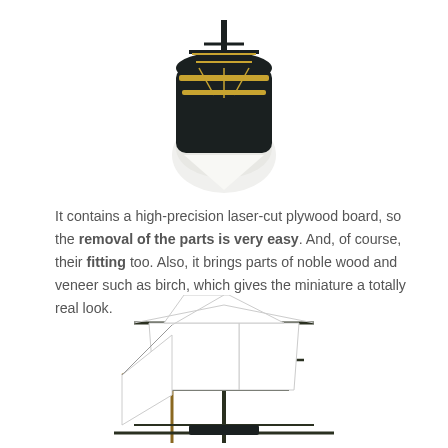[Figure (photo): Front/bow view of a wooden tall ship model, showing the black and gold decorated hull from below, white lower hull, on a white background.]
It contains a high-precision laser-cut plywood board, so the removal of the parts is very easy. And, of course, their fitting too. Also, it brings parts of noble wood and veneer such as birch, which gives the miniature a totally real look.
[Figure (photo): Front view of a wooden tall ship model showing masts, sails, and rigging from below against a white background.]